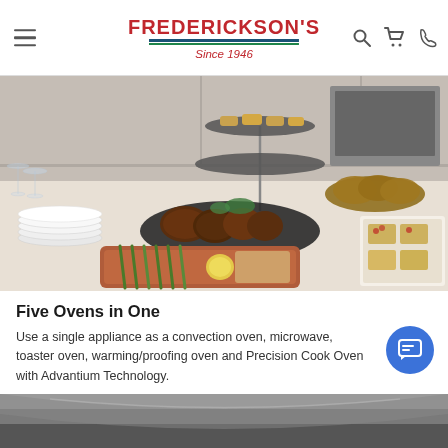Frederickson's Since 1946 — navigation header with hamburger menu, search, cart, and phone icons
[Figure (photo): Food spread on a kitchen counter: tiered platter with appetizers, dark baking dish with glazed chicken pieces, copper baking dish with asparagus and lemon, sliced bread/croissants, and bruschetta on a white board. White plates stacked on left, wine glasses visible.]
Five Ovens in One
Use a single appliance as a convection oven, microwave, toaster oven, warming/proofing oven and Precision Cook Oven with Advantium Technology.
[Figure (photo): Partial view of a dark-colored kitchen appliance (oven) — only the top portion is visible as a strip at the bottom of the page.]